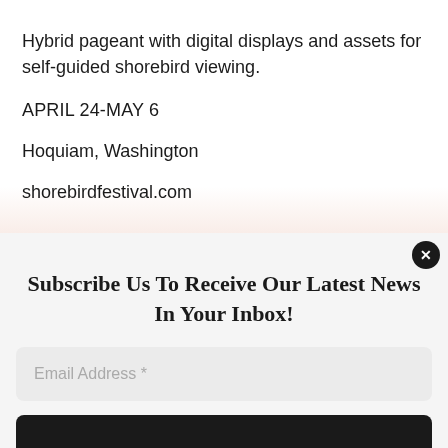Hybrid pageant with digital displays and assets for self-guided shorebird viewing.
APRIL 24-MAY 6
Hoquiam, Washington
shorebirdfestival.com
Subscribe Us To Receive Our Latest News In Your Inbox!
Email Address *